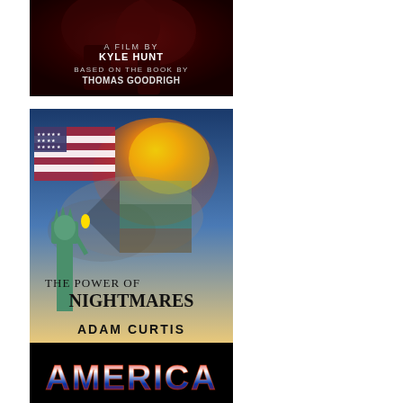[Figure (illustration): Dark dramatic film poster showing shadowy figures, text reads 'A FILM BY KYLE HUNT BASED ON THE BOOK BY THOMAS GOODRIGH']
[Figure (illustration): Book/film cover 'THE POWER OF NIGHTMARES' by ADAM CURTIS, featuring Statue of Liberty, American flag, fire and smoke imagery]
[Figure (illustration): Partial view of 'AMERICA' title logo in stars-and-stripes lettering on black background]